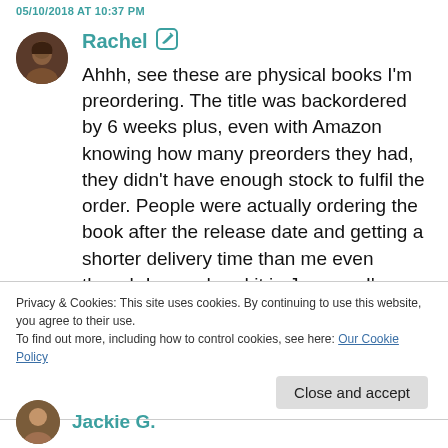05/10/2018 AT 10:37 PM
Rachel
Ahhh, see these are physical books I'm preordering. The title was backordered by 6 weeks plus, even with Amazon knowing how many preorders they had, they didn't have enough stock to fulfil the order. People were actually ordering the book after the release date and getting a shorter delivery time than me even though I preordered it in January. I'm definitely put off preordering physical
Privacy & Cookies: This site uses cookies. By continuing to use this website, you agree to their use.
To find out more, including how to control cookies, see here: Our Cookie Policy
Close and accept
Jackie G.